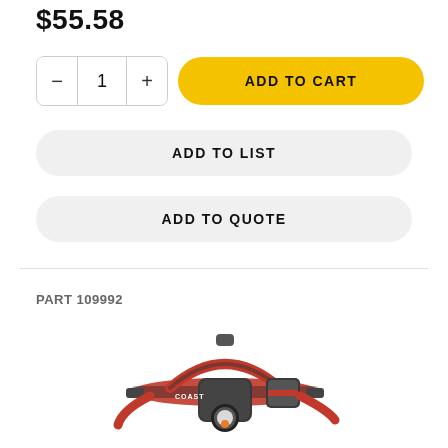$55.58
- 1 + ADD TO CART
ADD TO LIST
ADD TO QUOTE
PART 109992
[Figure (photo): Coast brand headlamp with red and black straps and orange LED light element]